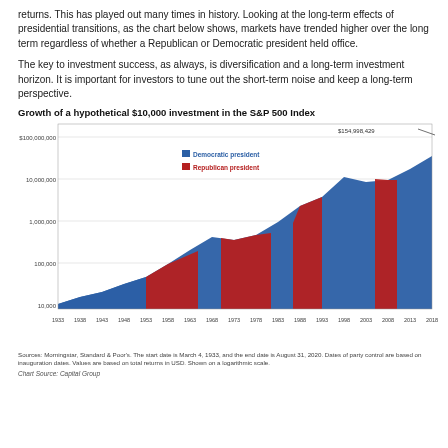returns. This has played out many times in history. Looking at the long-term effects of presidential transitions, as the chart below shows, markets have trended higher over the long term regardless of whether a Republican or Democratic president held office.
The key to investment success, as always, is diversification and a long-term investment horizon. It is important for investors to tune out the short-term noise and keep a long-term perspective.
Growth of a hypothetical $10,000 investment in the S&P 500 Index
[Figure (area-chart): Area chart on logarithmic scale showing growth of $10,000 in S&P 500 from 1933 to 2020, alternating blue (Democratic) and red (Republican) shaded regions, reaching $154,998,429 at peak.]
Sources: Morningstar, Standard & Poor's. The start date is March 4, 1933, and the end date is August 31, 2020. Dates of party control are based on inauguration dates. Values are based on total returns in USD. Shown on a logarithmic scale.
Chart Source: Capital Group